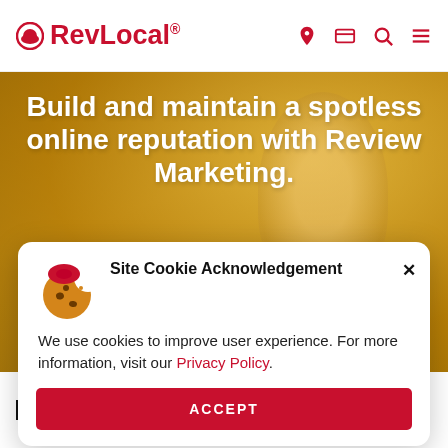RevLocal®
[Figure (screenshot): Hero background image showing a smiling woman with golden/warm color overlay. The hero section has text overlaid.]
Build and maintain a spotless online reputation with Review Marketing.
Site Cookie Acknowledgement × We use cookies to improve user experience. For more information, visit our Privacy Policy. ACCEPT
Keep Reviews Rolling In